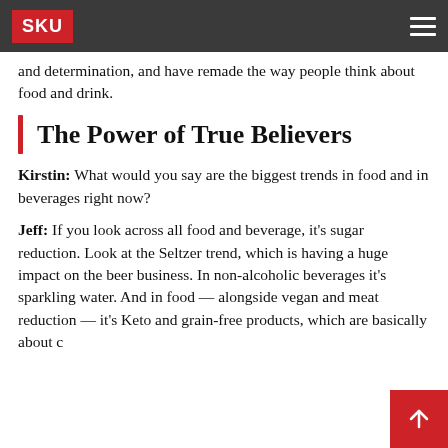SKU
and determination, and have remade the way people think about food and drink.
The Power of True Believers
Kirstin: What would you say are the biggest trends in food and in beverages right now?
Jeff: If you look across all food and beverage, it’s sugar reduction. Look at the Seltzer trend, which is having a huge impact on the beer business. In non-alcoholic beverages it’s sparkling water. And in food — alongside vegan and meat reduction — it’s Keto and grain-free products, which are basically about c…